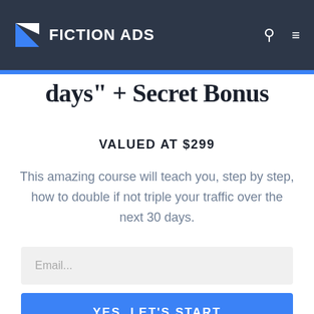FICTION ADS
days" + Secret Bonus
VALUED AT $299
This amazing course will teach you, step by step, how to double if not triple your traffic over the next 30 days.
Email...
YES, LET'S START
100% Privacy. We will never spam you!